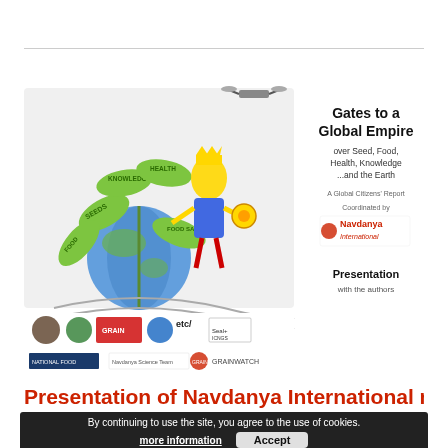[Figure (illustration): Book cover illustration for 'Gates to a Global Empire over Seed, Food, Health, Knowledge ...and the Earth'. A Global Citizens' Report coordinated by Navdanya International. Shows a king figure standing on the Earth globe surrounded by green leaves with text labels, with multiple NGO logos at the bottom. Right side shows title text and 'Presentation with the authors'.]
Presentation of Navdanya International new
By continuing to use the site, you agree to the use of cookies. more information Accept
Press Release On Wednesday, 14 October 2020 a panel of